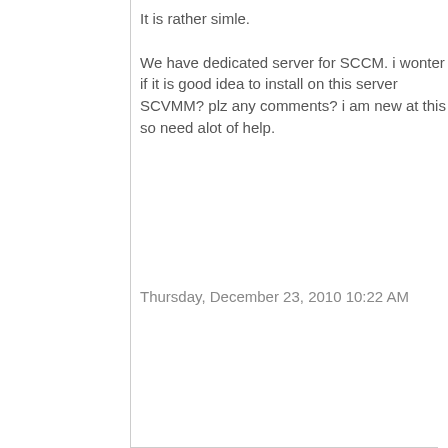It is rather simle.

We have dedicated server for SCCM. i wonter if it is good idea to install on this server SCVMM? plz any comments? i am new at this so need alot of help.
Thursday, December 23, 2010 10:22 AM